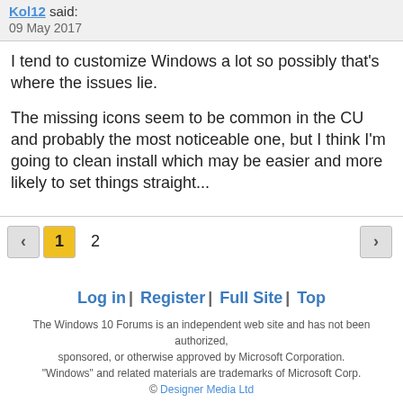Kol12 said:
09 May 2017
I tend to customize Windows a lot so possibly that's where the issues lie.
The missing icons seem to be common in the CU and probably the most noticeable one, but I think I'm going to clean install which may be easier and more likely to set things straight...
◀ 1 2 ▶
Log in | Register | Full Site | Top
The Windows 10 Forums is an independent web site and has not been authorized, sponsored, or otherwise approved by Microsoft Corporation. "Windows" and related materials are trademarks of Microsoft Corp. © Designer Media Ltd